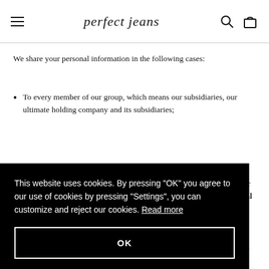perfect jeans
We share your personal information in the following cases:
To every member of our group, which means our subsidiaries, our ultimate holding company and its subsidiaries;
This website uses cookies. By pressing "OK" you agree to our use of cookies by pressing "Settings", you can customize and reject our cookies. Read more
organizations for the purpose of fraud protection